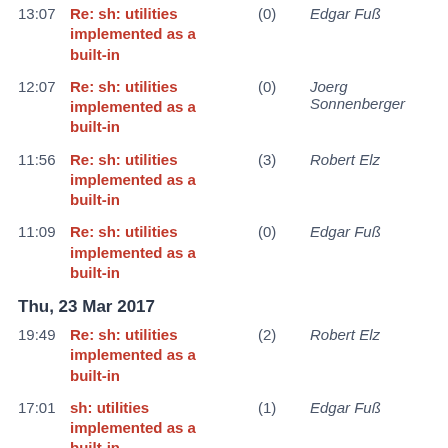13:07 Re: sh: utilities implemented as a built-in (0) Edgar Fuß
12:07 Re: sh: utilities implemented as a built-in (0) Joerg Sonnenberger
11:56 Re: sh: utilities implemented as a built-in (3) Robert Elz
11:09 Re: sh: utilities implemented as a built-in (0) Edgar Fuß
Thu, 23 Mar 2017
19:49 Re: sh: utilities implemented as a built-in (2) Robert Elz
17:01 sh: utilities implemented as a built-in (1) Edgar Fuß
Wed, 22 Mar 2017
21:39 Time to update (0) John Klos